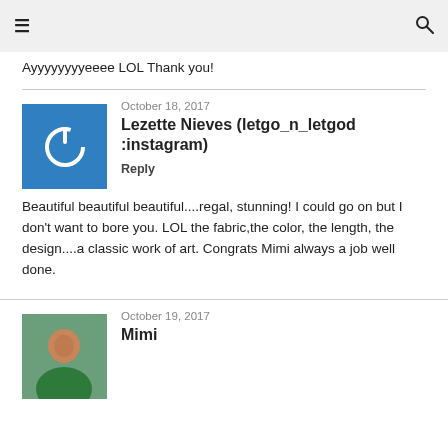≡  🔍
Ayyyyyyyyeeee LOL Thank you!
October 18, 2017
Lezette Nieves (letgo_n_letgod:instagram)
Reply
Beautiful beautiful beautiful....regal, stunning! I could go on but I don't want to bore you. LOL the fabric,the color, the length, the design....a classic work of art. Congrats Mimi always a job well done.
October 19, 2017
Mimi